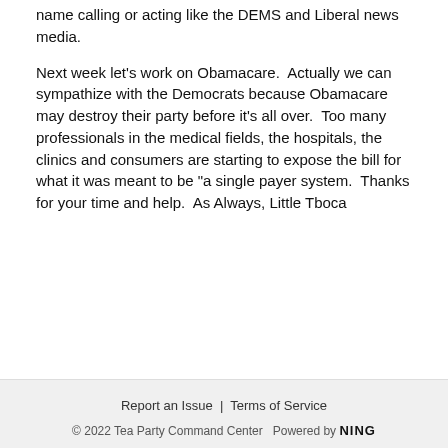name calling or acting like the DEMS and Liberal news media.
Next week let's work on Obamacare.  Actually we can sympathize with the Democrats because Obamacare may destroy their party before it's all over.  Too many professionals in the medical fields, the hospitals, the clinics and consumers are starting to expose the bill for what it was meant to be "a single payer system.  Thanks for your time and help.  As Always, Little Tboca
Report an Issue  |  Terms of Service
© 2022 Tea Party Command Center   Powered by NING